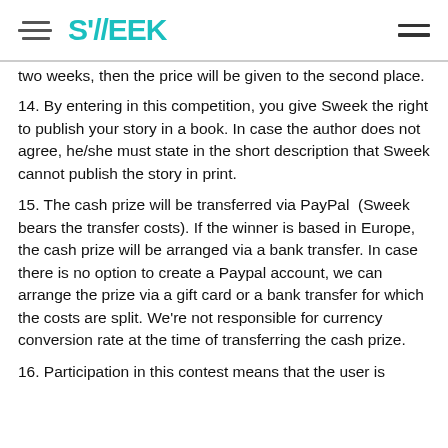SWEEK
two weeks, then the price will be given to the second place.
14. By entering in this competition, you give Sweek the right to publish your story in a book. In case the author does not agree, he/she must state in the short description that Sweek cannot publish the story in print.
15. The cash prize will be transferred via PayPal (Sweek bears the transfer costs). If the winner is based in Europe, the cash prize will be arranged via a bank transfer. In case there is no option to create a Paypal account, we can arrange the prize via a gift card or a bank transfer for which the costs are split. We're not responsible for currency conversion rate at the time of transferring the cash prize.
16. Participation in this contest means that the user is